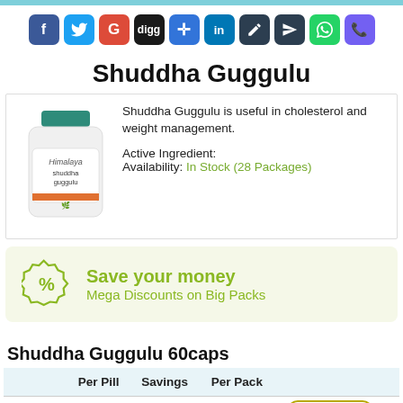[Figure (other): Social media sharing icons row: Facebook, Twitter, Google+, Digg, Delicious, LinkedIn, Pencil, Plane, WhatsApp, Viber]
Shuddha Guggulu
Shuddha Guggulu is useful in cholesterol and weight management.
Active Ingredient:
Availability: In Stock (28 Packages)
[Figure (photo): Himalaya Shuddha Guggulu product bottle - white bottle with teal cap]
[Figure (infographic): Save your money - Mega Discounts on Big Packs promotional banner with % badge icon]
Shuddha Guggulu 60caps
|  | Per Pill | Savings | Per Pack |  |
| --- | --- | --- | --- | --- |
| 1 bottles | $51.19 |  | $51.19 | ADD TO CART |